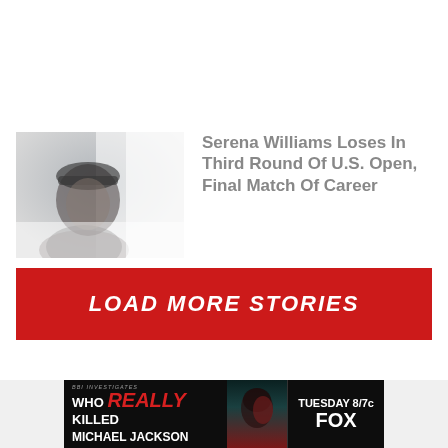[Figure (photo): Photo of Serena Williams looking upward, shown in grayscale/muted tones with gray background, wearing a dark headband]
Serena Williams Loses In Third Round Of U.S. Open, Final Match Of Career
LOAD MORE STORIES
[Figure (photo): Advertisement banner: BBI Investigates - WHO REALLY KILLED MICHAEL JACKSON - TUESDAY 8/7c FOX, dark background with face silhouette]